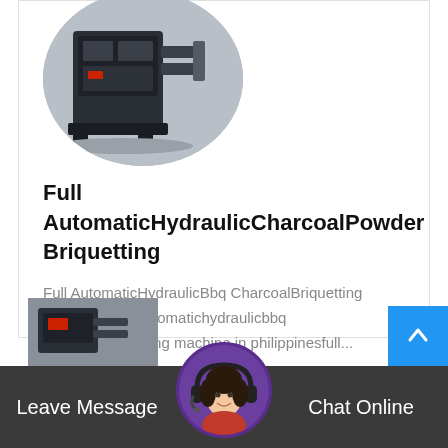[Figure (photo): Circular cropped photo of a full automatic hydraulic charcoal powder briquetting machine, dark grey industrial machine on a workshop floor]
Full AutomaticHydraulicCharcoalPowder Briquetting
Full AutomaticHydraulicBbq CharcoalBriquetting Machine. Full automatichydraulicbbq charcoalbriquetting machine in philippinesfull...
Read More →
[Figure (photo): Partial view of another machine at the bottom of the page, partially cut off]
[Figure (photo): Chat support avatar - woman with headset, circular purple-bordered photo]
Leave Message
Chat Online